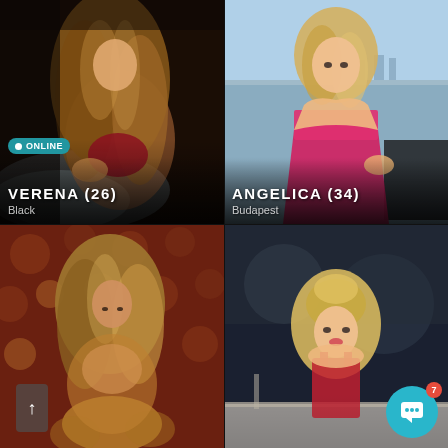[Figure (screenshot): Dating app grid with four profile cards. Top-left: Verena (26), Black - woman with long wavy auburn hair in red lingerie on bed, dark moody lighting, ONLINE badge. Top-right: Angelica (34), Budapest - blonde woman in hot pink strapless dress outdoors on rooftop. Bottom-left: unnamed profile - woman with highlighted wavy hair against ornate golden floral wallpaper. Bottom-right: unnamed profile - blonde woman in red outfit in dark interior, with chat button showing badge '7'.]